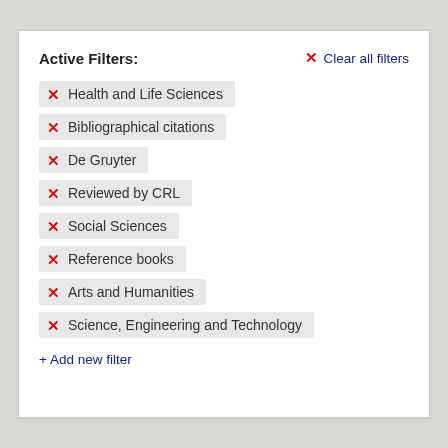Active Filters:
✕ Clear all filters
✕ Health and Life Sciences
✕ Bibliographical citations
✕ De Gruyter
✕ Reviewed by CRL
✕ Social Sciences
✕ Reference books
✕ Arts and Humanities
✕ Science, Engineering and Technology
+ Add new filter